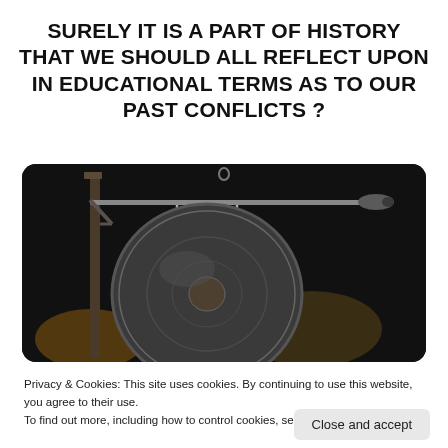SURELY IT IS A PART OF HISTORY THAT WE SHOULD ALL REFLECT UPON IN EDUCATIONAL TERMS AS TO OUR PAST CONFLICTS ?
[Figure (photo): Close-up photo of a metal gong hanging from a horizontal rod mounted on a frame, photographed against a dark background with warm backlighting. The gong has a circular metallic disc shape and the striker is visible at the right end of the horizontal rod.]
Privacy & Cookies: This site uses cookies. By continuing to use this website, you agree to their use.
To find out more, including how to control cookies, see here: Cookie Policy
Close and accept